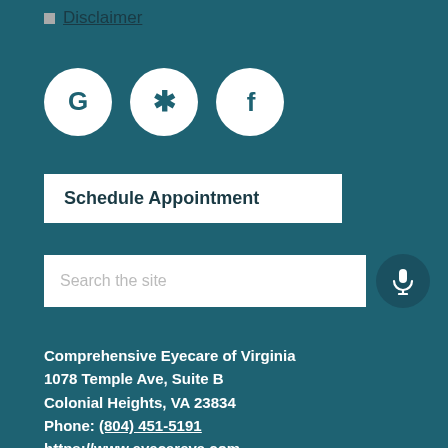Disclaimer
[Figure (illustration): Three social media icon circles: Google (G), Yelp (asterisk/flower icon), and Facebook (f), white on teal background]
Schedule Appointment
Search the site
Comprehensive Eyecare of Virginia
1078 Temple Ave, Suite B
Colonial Heights, VA 23834
Phone: (804) 451-5191
https://www.eyecareva.com